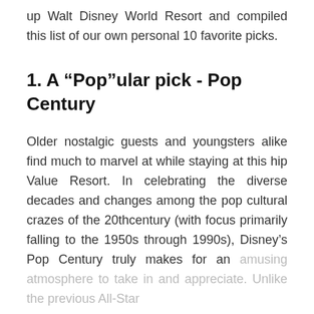up Walt Disney World Resort and compiled this list of our own personal 10 favorite picks.
1. A “Pop”ular pick - Pop Century
Older nostalgic guests and youngsters alike find much to marvel at while staying at this hip Value Resort. In celebrating the diverse decades and changes among the pop cultural crazes of the 20thcentury (with focus primarily falling to the 1950s through 1990s), Disney’s Pop Century truly makes for an amusing atmosphere to take in and appreciate. Unlike the previous All-Star